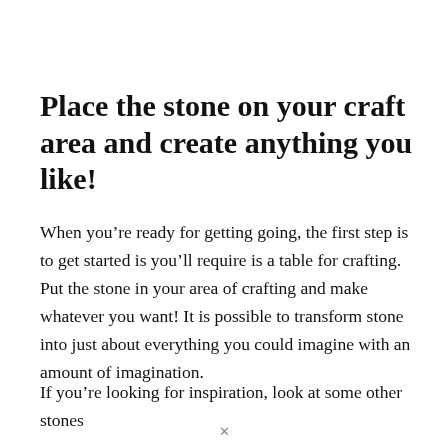Place the stone on your craft area and create anything you like!
When you’re ready for getting going, the first step is to get started is you’ll require is a table for crafting. Put the stone in your area of crafting and make whatever you want! It is possible to transform stone into just about everything you could imagine with an amount of imagination.
If you’re looking for inspiration, look at some other stones